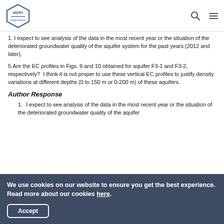MDPI
1. I expect to see analysis of the data in the most recent year or the situation of the deteriorated groundwater quality of the aquifer system for the past years (2012 and later).
5.Are the EC profiles in Figs. 9 and 10 obtained for aquifer F3-1 and F3-2, respectively?  I think it is not proper to use these vertical EC profiles to justify density variations at different depths (0 to 150 m or 0-200 m) of these aquifers.
Author Response
1. I expect to see analysis of the data in the most recent year or the situation of the deteriorated groundwater quality of the aquifer
We use cookies on our website to ensure you get the best experience. Read more about our cookies here. Accept